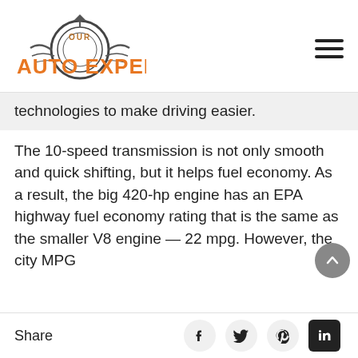[Figure (logo): Our Auto Expert logo with circular gear/tire graphic and orange bold text]
technologies to make driving easier.
The 10-speed transmission is not only smooth and quick shifting, but it helps fuel economy. As a result, the big 420-hp engine has an EPA highway fuel economy rating that is the same as the smaller V8 engine — 22 mpg. However, the city MPG
Share